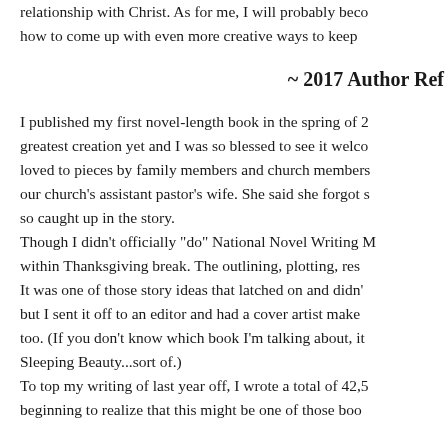relationship with Christ. As for me, I will probably beco how to come up with even more creative ways to keep
~ 2017 Author Ref
I published my first novel-length book in the spring of 2 greatest creation yet and I was so blessed to see it welco loved to pieces by family members and church members our church's assistant pastor's wife. She said she forgot s so caught up in the story.
Though I didn't officially "do" National Novel Writing M within Thanksgiving break. The outlining, plotting, res It was one of those story ideas that latched on and didn' but I sent it off to an editor and had a cover artist make too. (If you don't know which book I'm talking about, it Sleeping Beauty...sort of.)
To top my writing of last year off, I wrote a total of 42,5 beginning to realize that this might be one of those boo